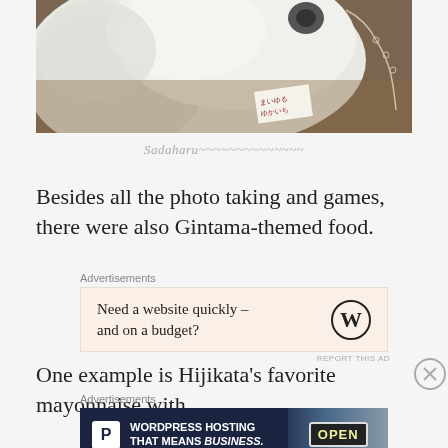[Figure (photo): Close-up photo of a white fluffy stuffed animal (Sadaharu from Gintama) on a wooden surface with a small card with Japanese text and a chain visible]
Sadaharu~~~~~~~~~~~~~~
Besides all the photo taking and games, there were also Gintama-themed food.
Advertisements
[Figure (screenshot): Advertisement banner: Need a website quickly – and on a budget? WordPress logo]
REPORT THIS AD
One example is Hijikata's favorite mayonnaise with
Advertisements
[Figure (screenshot): Advertisement banner: WordPress Hosting That Means BUSINESS. with P logo and OPEN sign photo]
REPORT THIS AD